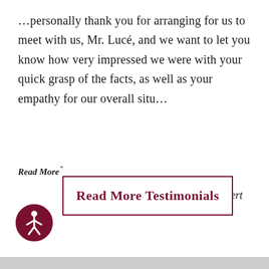…personally thank you for arranging for us to meet with us, Mr. Lucé, and we want to let you know how very impressed we were with your quick grasp of the facts, as well as your empathy for our overall situ...
Read More"
– Robert
Read More Testimonials
[Figure (illustration): Circular accessibility icon with a dark red border and a white human figure (universal accessibility symbol) in the center]